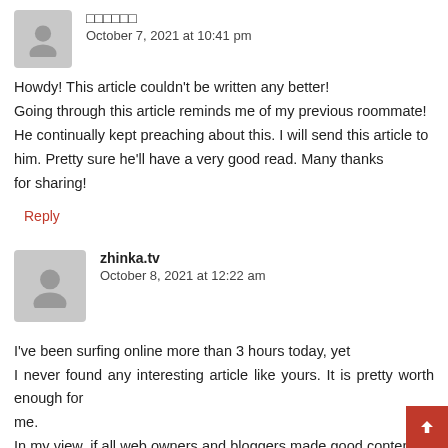[Figure (illustration): Gray avatar placeholder icon for first commenter]
ΑΒΓ (unicode squares representing non-latin characters)
October 7, 2021 at 10:41 pm
Howdy! This article couldn't be written any better! Going through this article reminds me of my previous roommate! He continually kept preaching about this. I will send this article to him. Pretty sure he'll have a very good read. Many thanks for sharing!
Reply
[Figure (illustration): Gray avatar placeholder icon for second commenter]
zhinka.tv
October 8, 2021 at 12:22 am
I've been surfing online more than 3 hours today, yet I never found any interesting article like yours. It is pretty worth enough for me. In my view, if all web owners and bloggers made good content as you did, the web will be a lot more useful than ever before.